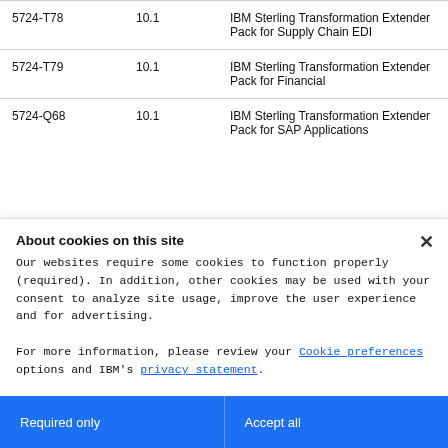|  |  |  |
| --- | --- | --- |
| 5724-T78 | 10.1 | IBM Sterling Transformation Extender Pack for Supply Chain EDI |
| 5724-T79 | 10.1 | IBM Sterling Transformation Extender Pack for Financial |
| 5724-Q68 | 10.1 | IBM Sterling Transformation Extender Pack for SAP Applications |
About cookies on this site
Our websites require some cookies to function properly (required). In addition, other cookies may be used with your consent to analyze site usage, improve the user experience and for advertising.

For more information, please review your Cookie preferences options and IBM’s privacy statement.
Required only
Accept all